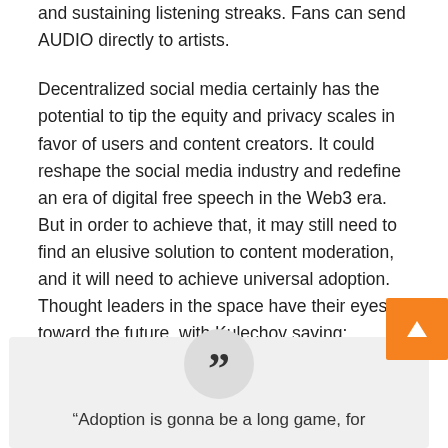and sustaining listening streaks. Fans can send AUDIO directly to artists.
Decentralized social media certainly has the potential to tip the equity and privacy scales in favor of users and content creators. It could reshape the social media industry and redefine an era of digital free speech in the Web3 era. But in order to achieve that, it may still need to find an elusive solution to content moderation, and it will need to achieve universal adoption. Thought leaders in the space have their eyes toward the future, with Kulechov saying:
“Adoption is gonna be a long game, for